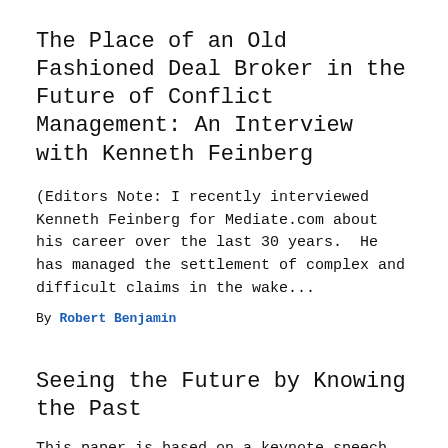The Place of an Old Fashioned Deal Broker in the Future of Conflict Management: An Interview with Kenneth Feinberg
(Editors Note: I recently interviewed Kenneth Feinberg for Mediate.com about his career over the last 30 years.  He has managed the settlement of complex and difficult claims in the wake...
By Robert Benjamin
Seeing the Future by Knowing the Past
This paper is based on a keynote speech delivered to the Nebraska Mediation Association on August 6...